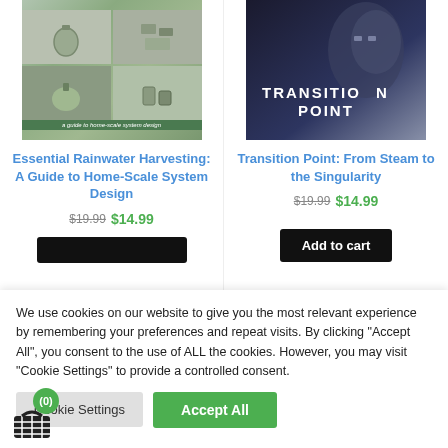[Figure (illustration): Book cover for 'Essential Rainwater Harvesting' showing water tanks and storage systems in a grid of 4 photos with a green text strip at the bottom]
Essential Rainwater Harvesting: A Guide to Home-Scale System Design
$19.99 $14.99
[Figure (illustration): Book cover for 'Transition Point: From Steam to the Singularity' showing a dark background with a robotic figure and the title text overlay]
Transition Point: From Steam to the Singularity
$19.99 $14.99
Add to cart
We use cookies on our website to give you the most relevant experience by remembering your preferences and repeat visits. By clicking "Accept All", you consent to the use of ALL the cookies. However, you may visit "Cookie Settings" to provide a controlled consent.
Cookie Settings
Accept All